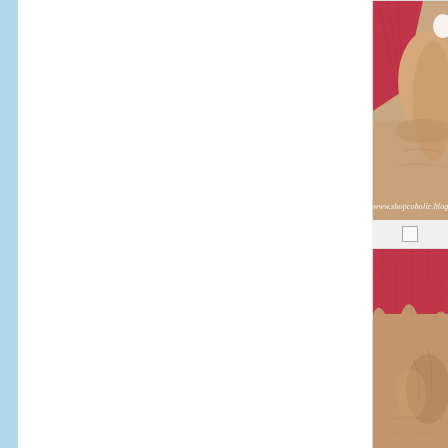[Figure (photo): Close-up photo of a person's eye area and skin with a red/pink fabric or cloth and white cream/product applied, with watermark text 'www.shopcoholic.blogspot' overlaid]
[Figure (photo): Close-up photo of skin with a red/pink fabric or cloth, showing textured skin with veins, after/before skin treatment]